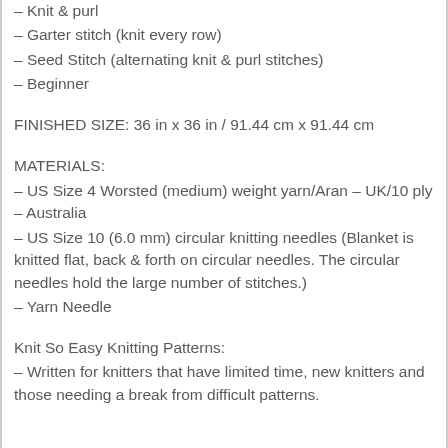– Knit & purl
– Garter stitch (knit every row)
– Seed Stitch (alternating knit & purl stitches)
– Beginner
FINISHED SIZE: 36 in x 36 in / 91.44 cm x 91.44 cm
MATERIALS:
– US Size 4 Worsted (medium) weight yarn/Aran – UK/10 ply – Australia
– US Size 10 (6.0 mm) circular knitting needles (Blanket is knitted flat, back & forth on circular needles. The circular needles hold the large number of stitches.)
– Yarn Needle
Knit So Easy Knitting Patterns:
– Written for knitters that have limited time, new knitters and those needing a break from difficult patterns.